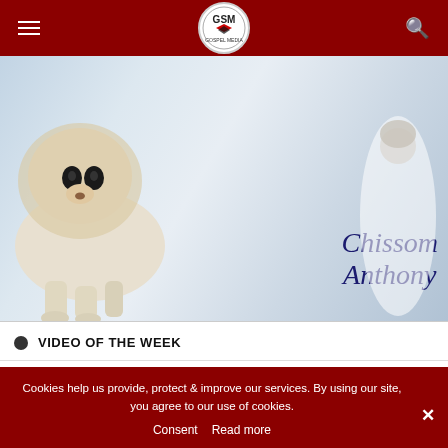Gospel Media (GSM)
[Figure (photo): Hero image showing a white lion running and a figure in white robes, with text 'Chissom Anthony' in dark blue italic serif font]
VIDEO OF THE WEEK
[Figure (screenshot): Video thumbnail for DDavids Thank You Very Much]
Cookies help us provide, protect & improve our services. By using our site, you agree to our use of cookies.
Consent   Read more